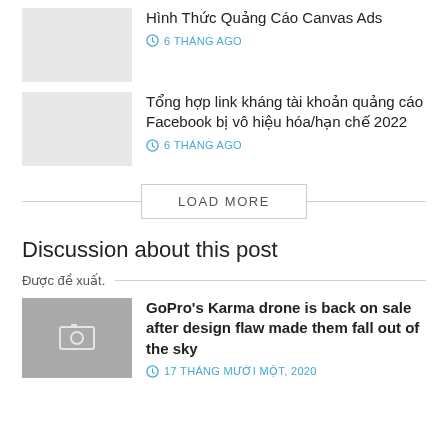[Figure (photo): Thumbnail placeholder image (light gray)]
Hình Thức Quảng Cáo Canvas Ads
6 THÁNG AGO
[Figure (photo): Thumbnail placeholder image (light gray)]
Tổng hợp link kháng tài khoản quảng cáo Facebook bị vô hiệu hóa/hạn chế 2022
6 THÁNG AGO
LOAD MORE
Discussion about this post
Được đề xuất.
[Figure (photo): Thumbnail placeholder image (gray) with image icon]
GoPro's Karma drone is back on sale after design flaw made them fall out of the sky
17 THÁNG MƯỜI MỘT, 2020